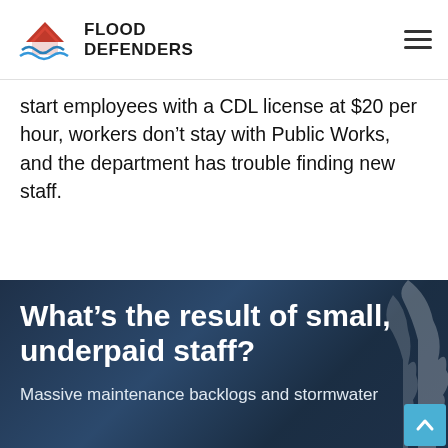FLOOD DEFENDERS
start employees with a CDL license at $20 per hour, workers don't stay with Public Works, and the department has trouble finding new staff.
What's the result of small, underpaid staff?
Massive maintenance backlogs and stormwater